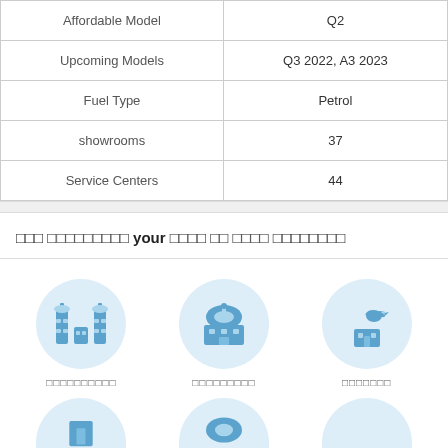|  |  |
| --- | --- |
| Affordable Model | Q2 |
| Upcoming Models | Q3 2022, A3 2023 |
| Fuel Type | Petrol |
| showrooms | 37 |
| Service Centers | 44 |
□□□ □□□□□□□□□ your □□□□ □□ □□□□ □□□□□□□□
[Figure (illustration): Three circular icons with blue building/landmark illustrations, labeled with non-Latin script text below each]
[Figure (illustration): Partial view of two more circular icons at bottom of page]